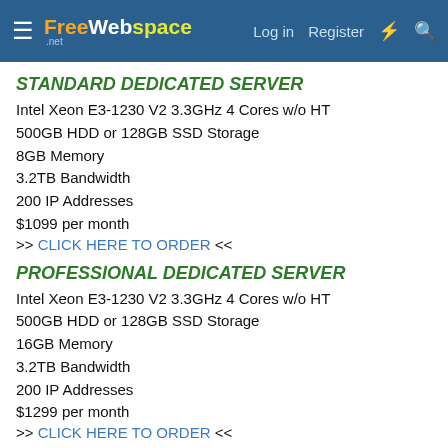FreeWebSpace.net — Log in | Register
STANDARD DEDICATED SERVER
Intel Xeon E3-1230 V2 3.3GHz 4 Cores w/o HT
500GB HDD or 128GB SSD Storage
8GB Memory
3.2TB Bandwidth
200 IP Addresses
$1099 per month
>> CLICK HERE TO ORDER <<
PROFESSIONAL DEDICATED SERVER
Intel Xeon E3-1230 V2 3.3GHz 4 Cores w/o HT
500GB HDD or 128GB SSD Storage
16GB Memory
3.2TB Bandwidth
200 IP Addresses
$1299 per month
>> CLICK HERE TO ORDER <<
Full pricing on any of the features on will not